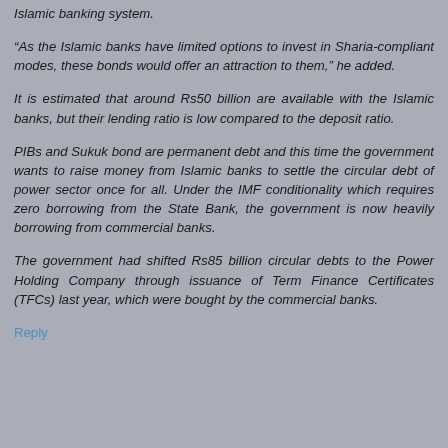Islamic banking system.
“As the Islamic banks have limited options to invest in Sharia-compliant modes, these bonds would offer an attraction to them,” he added.
It is estimated that around Rs50 billion are available with the Islamic banks, but their lending ratio is low compared to the deposit ratio.
PIBs and Sukuk bond are permanent debt and this time the government wants to raise money from Islamic banks to settle the circular debt of power sector once for all. Under the IMF conditionality which requires zero borrowing from the State Bank, the government is now heavily borrowing from commercial banks.
The government had shifted Rs85 billion circular debts to the Power Holding Company through issuance of Term Finance Certificates (TFCs) last year, which were bought by the commercial banks.
Reply